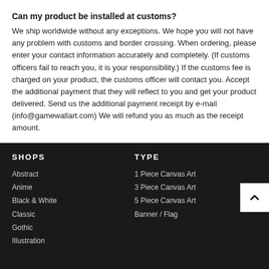Can my product be installed at customs?
We ship worldwide without any exceptions. We hope you will not have any problem with customs and border crossing. When ordering, please enter your contact information accurately and completely. (If customs officers fail to reach you, it is your responsibility.) If the customs fee is charged on your product, the customs officer will contact you. Accept the additional payment that they will reflect to you and get your product delivered. Send us the additional payment receipt by e-mail (info@gamewallart.com) We will refund you as much as the receipt amount.
SHOPS
TYPE
Abstract
Anime
Black & White
Classic
Gothic
Illustration
1 Piece Canvas Art
3 Piece Canvas Art
5 Piece Canvas Art
Banner / Flag